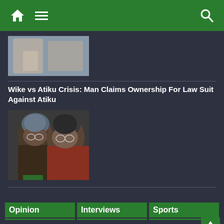Navigation bar with home, menu, and search icons
[Figure (photo): Partial photo of people, cropped at top]
Wike vs Atiku Crisis: Man Claims Ownership For Law Suit Against Atiku
[Figure (photo): Photo of two men, Atiku and Wike, looking serious]
Opinion
Interviews
Sports
Inuwa Yahaya: A
Threat To Impeach
C.W.G: Nigeria's 12